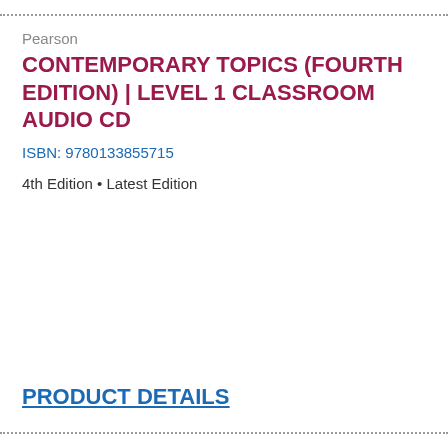Pearson
CONTEMPORARY TOPICS (FOURTH EDITION) | LEVEL 1 CLASSROOM AUDIO CD
ISBN: 9780133855715
4th Edition • Latest Edition
PRODUCT DETAILS